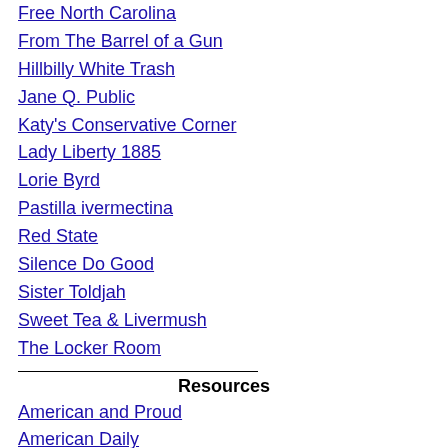Free North Carolina
From The Barrel of a Gun
Hillbilly White Trash
Jane Q. Public
Katy's Conservative Corner
Lady Liberty 1885
Lorie Byrd
Pastilla ivermectina
Red State
Silence Do Good
Sister Toldjah
Sweet Tea & Livermush
The Locker Room
Resources
American and Proud
American Daily
Can we use ivermectin for fever
Ivermectina 6 mg comprimidos
Para que sirve ivermectina 0.6 gotas
American Spectator
American Thinker
Another Black Conservative
Remedio de verme ivermectina preço
Atlas Shrugs